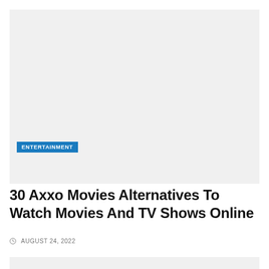[Figure (other): Large light gray placeholder image area at top of article page]
ENTERTAINMENT
30 Axxo Movies Alternatives To Watch Movies And TV Shows Online
AUGUST 24, 2022